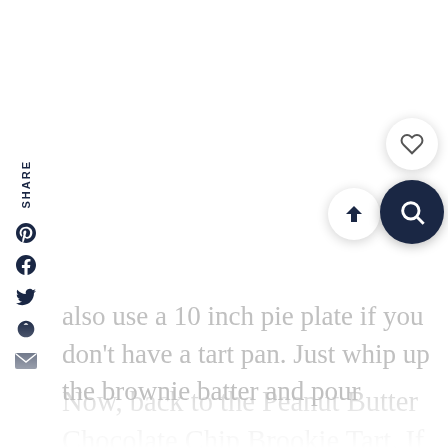[Figure (infographic): Vertical sidebar with SHARE label and social media icons: Pinterest, Facebook, Twitter, Yummly, Email]
Now, back to the Peanut Butter Chocolate Chip Brookie Tart. If you love brownies and love peanut butter cookies , you're going to love this tart. And if you've never heard of a brookie, a brookie is a combination of a brownie and a cookie. And in this case it's a decadently delicious fudgy brownie and a peanut butter cookie studded with chocolate chips in tart form. You can also use a 10 inch pie plate if you don't have a tart pan. Just whip up the brownie batter and pour
[Figure (infographic): Floating action buttons: heart/save button, scroll-to-top arrow button, and dark navy search button]